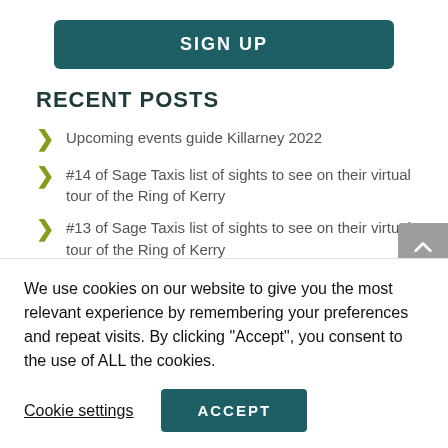SIGN UP
RECENT POSTS
Upcoming events guide Killarney 2022
#14 of Sage Taxis list of sights to see on their virtual tour of the Ring of Kerry
#13 of Sage Taxis list of sights to see on their virtual tour of the Ring of Kerry
#12 of Sage Taxis list of sights to see on their
We use cookies on our website to give you the most relevant experience by remembering your preferences and repeat visits. By clicking “Accept”, you consent to the use of ALL the cookies.
Cookie settings
ACCEPT